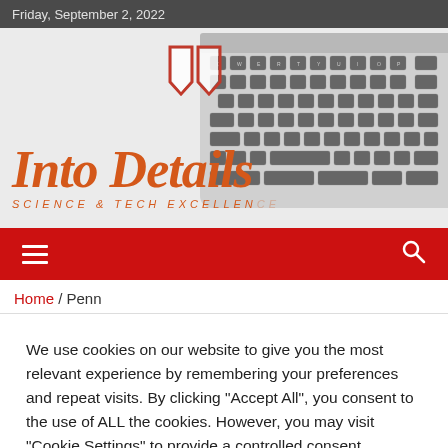Friday, September 2, 2022
[Figure (screenshot): Into Details website hero banner with laptop keyboard in background, two shield/bookmark icons, site title 'Into Details' in large italic orange font, and subtitle 'SCIENCE & TECH EXCELLENCE' in spaced italic orange text]
≡   🔍
Home / Penn
We use cookies on our website to give you the most relevant experience by remembering your preferences and repeat visits. By clicking "Accept All", you consent to the use of ALL the cookies. However, you may visit "Cookie Settings" to provide a controlled consent.